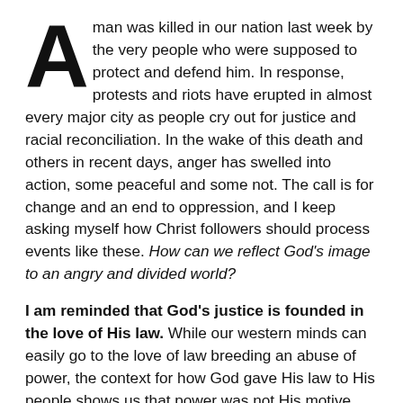A man was killed in our nation last week by the very people who were supposed to protect and defend him. In response, protests and riots have erupted in almost every major city as people cry out for justice and racial reconciliation. In the wake of this death and others in recent days, anger has swelled into action, some peaceful and some not. The call is for change and an end to oppression, and I keep asking myself how Christ followers should process events like these. How can we reflect God's image to an angry and divided world?
I am reminded that God's justice is founded in the love of His law. While our western minds can easily go to the love of law breeding an abuse of power, the context for how God gave His law to His people shows us that power was not His motive. The story of Exodus clearly illustrates this point. For hundreds of years, God's people cried out to Him in hurt and